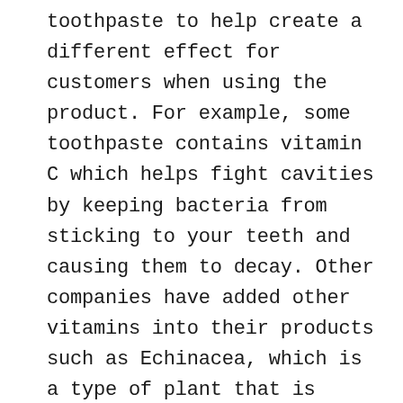toothpaste to help create a different effect for customers when using the product. For example, some toothpaste contains vitamin C which helps fight cavities by keeping bacteria from sticking to your teeth and causing them to decay. Other companies have added other vitamins into their products such as Echinacea, which is a type of plant that is known for its antibacterial properties and is used in many products such as mouthwash, supplements, and even water to help fight infections in the body. Others add flavors to their products so that they can have some sort of flavor or taste associated with it; however, this does not affect your teeth as long as you do not swallow it down since it does not contain any chemicals or ingredients that are harmful to oral health but also does not provide any benefit either because there are no vitamins or minerals contained